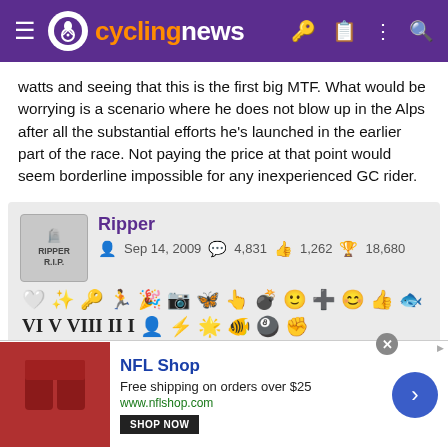cyclingnews
watts and seeing that this is the first big MTF. What would be worrying is a scenario where he does not blow up in the Alps after all the substantial efforts he's launched in the earlier part of the race. Not paying the price at that point would seem borderline impossible for any inexperienced GC rider.
Ripper | Sep 14, 2009 | 4,831 | 1,262 | 18,680
Jul 20, 2019 | #104
Re:
[Figure (screenshot): NFL Shop advertisement banner with red pants image, NFL Shop title, 'Free shipping on orders over $25', www.nflshop.com, SHOP NOW button, and blue arrow button]